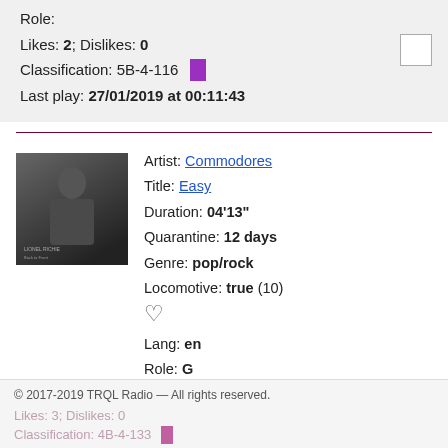Role:
Likes: 2; Dislikes: 0
Classification: 5B-4-116
Last play: 27/01/2019 at 00:11:43
[Figure (other): Album art thumbnail - black and white photo of Lionel Richie for Commodores Easy]
Artist: Commodores
Title: Easy
Duration: 04'13"
Quarantine: 12 days
Genre: pop/rock
Locomotive: true (10)
Lang: en
Role: G
© 2017-2019 TRQL Radio — All rights reserved.
Likes: 3; Dislikes: 0
Classification: 4B-4-133